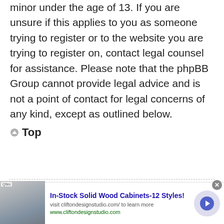minor under the age of 13. If you are unsure if this applies to you as someone trying to register or to the website you are trying to register on, contact legal counsel for assistance. Please note that the phpBB Group cannot provide legal advice and is not a point of contact for legal concerns of any kind, except as outlined below.
Top
[Figure (infographic): Advertisement banner for In-Stock Solid Wood Cabinets-12 Styles! with image of interior/cabinets on left, ad text in center, and arrow button on right. Close button at top right.]